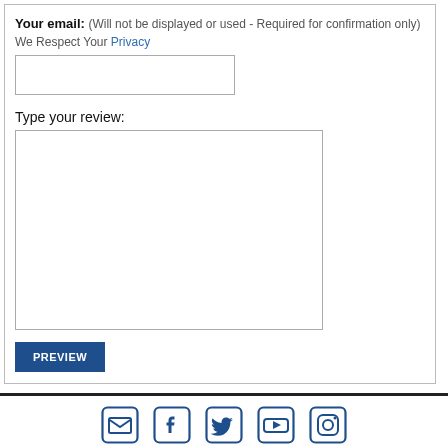Your email: (Will not be displayed or used - Required for confirmation only) We Respect Your Privacy
[Figure (screenshot): Email input text field (empty)]
Type your review:
[Figure (screenshot): Large review text area (empty)]
[Figure (screenshot): PREVIEW button (dark blue)]
[Figure (infographic): Social media icons row: email envelope, Facebook, Twitter, YouTube, Instagram]